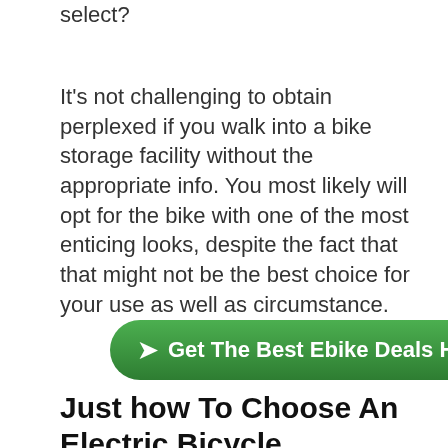select?
It's not challenging to obtain perplexed if you walk into a bike storage facility without the appropriate info. You most likely will opt for the bike with one of the most enticing looks, despite the fact that that might not be the best choice for your use as well as circumstance.
[Figure (other): Green rounded button with white text and arrow icon reading 'Get The Best Ebike Deals Here']
Just how To Choose An Electric Bicycle
When you look at the large number of electric bikes out there, it is easy to end up being